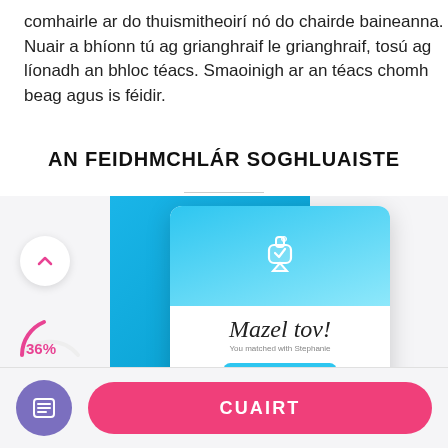comhairle ar do thuismitheoirí nó do chairde baineanna. Nuair a bhíonn tú ag grianghraif le grianghraif, tosú ag líonadh an bhloc téacs. Smaoinigh ar an téacs chomh beag agus is féidir.
AN FEIDHMCHLÁR SOGHLUAISTE
[Figure (screenshot): Mobile app screenshot showing a Mazel tov! match screen with a dreidel icon on a blue background, with 'You matched with Stephanie' text and a 'SEND HER A MESSAGE' button. A circular up-arrow indicator and a 36% progress arc are shown on the left side.]
CUAIRT